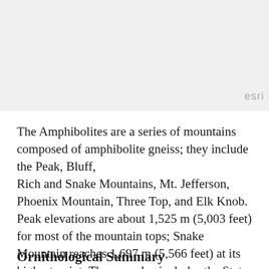[Figure (map): A map image showing terrain, likely of the Amphibolites mountain area. Light gray background indicating a map/aerial view region.]
The Amphibolites are a series of mountains composed of amphibolite gneiss; they include the Peak, Bluff,
Rich and Snake Mountains, Mt. Jefferson, Phoenix Mountain, Three Top, and Elk Knob. Peak elevations are about 1,525 m (5,003 feet) for most of the mountain tops; Snake Mountain reaches 1,697 m (5,566 feet) at its highest point. The area also includes the State Significant Natural Area of Long Hope Valley, lying between Elk Knob and the Peak.
Ornithological Summary